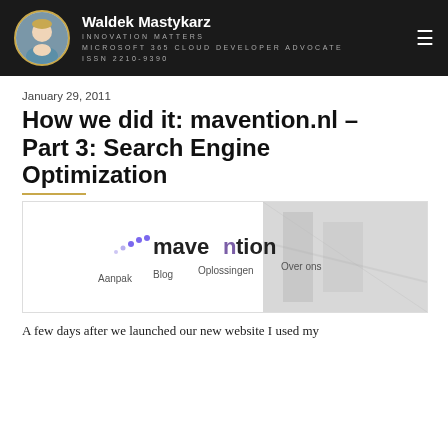Waldek Mastykarz
INNOVATION MATTERS
MICROSOFT 365 CLOUD DEVELOPER ADVOCATE
ISSN 2210-9390
January 29, 2011
How we did it: mavention.nl – Part 3: Search Engine Optimization
[Figure (screenshot): Screenshot of the mavention.nl website showing the logo with purple dots and the navigation menu items: Aanpak, Blog, Oplossingen, Over ons]
A few days after we launched our new website I used my